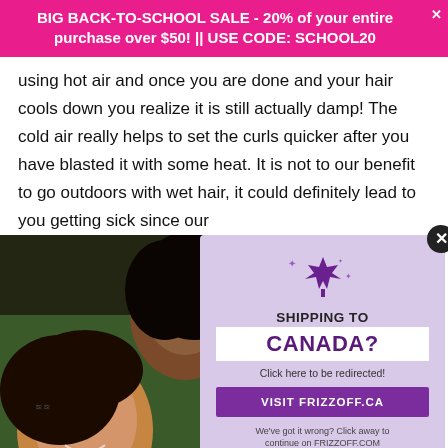BIG BACK-TO-SCHOOL SALE - 20% of your entire purchase over $50! || USE CODE: SCHOOL20
using hot air and once you are done and your hair cools down you realize it is still actually damp! The cold air really helps to set the curls quicker after you have blasted it with some heat. It is not to our benefit to go outdoors with wet hair, it could definitely lead to you getting sick since our
[Figure (photo): Two women lying on grass smiling, photographed from above. One has curly hair.]
[Figure (infographic): Purple popup overlay - SHIPPING TO CANADA? Click here to be redirected! VISIT FRIZZOFF.CA. We've got it wrong? Click away to continue on FRIZZOFF.COM]
patience! If you have experienced winter blunders and hair